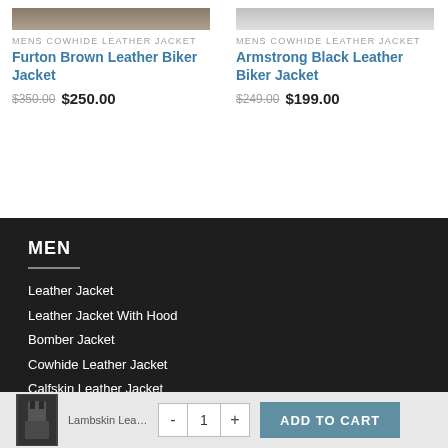MENS COWHIDE LEATHER JACKET
Furton Brown Leather Biker Jacket
$350.00  $250.00
MENS COWHIDE LEATHER JACKET
Armstrong Black Leather Biker Jacket
$249.00  $199.00
MEN
Leather Jacket
Leather Jacket With Hood
Bomber Jacket
Cowhide Leather Jacket
Calfskin Leather Jacket
Fur Leather Jacket
Goat Skin Leather Jacket
Lambskin Leather Jacket